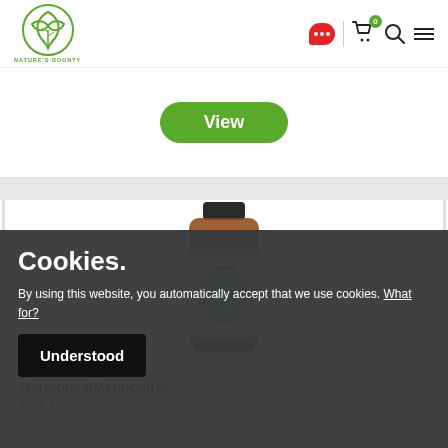[Figure (logo): Nature's Bounty green leaf logo with text NATURE'S BOUNTY below]
[Figure (screenshot): Navigation bar with chat bubble, cart (badge 0), search, and hamburger menu icons]
[Figure (other): Green rounded View button]
[Figure (photo): Viridian Organic Maca Extract supplement bottle in amber glass jar with white and teal label]
Hormones/Menopause
£24.15
Cookies.
By using this website, you automatically accept that we use cookies. What for?
Understood